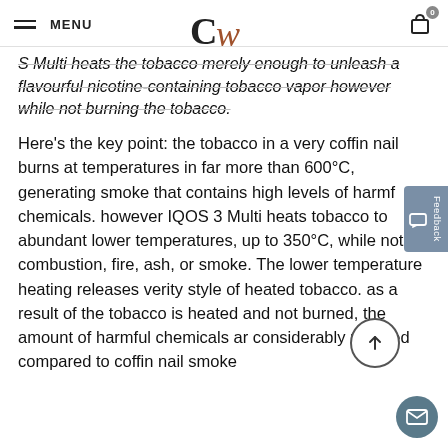MENU | CW | Cart (0)
S Multi heats the tobacco merely enough to unleash a flavourful nicotine-containing tobacco vapor however while not burning the tobacco.
Here’s the key point: the tobacco in a very coffin nail burns at temperatures in far more than 600°C, generating smoke that contains high levels of harmful chemicals. however IQOS 3 Multi heats tobacco to abundant lower temperatures, up to 350°C, while not combustion, fire, ash, or smoke. The lower temperature heating releases verity style of heated tobacco. as a result of the tobacco is heated and not burned, the amount of harmful chemicals ar considerably reduced compared to coffin nail smoke